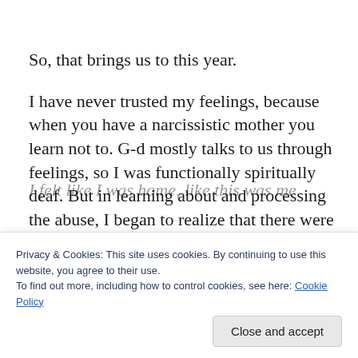So, that brings us to this year.
I have never trusted my feelings, because when you have a narcissistic mother you learn not to. G-d mostly talks to us through feelings, so I was functionally spiritually deaf. But in learning about and processing the abuse, I began to realize that there were all kinds of signals that I had been missing, or ignoring, like the fact that I had come out and claimed my real self thirteen years ago, after staying functionally a child through my twenties due to pain and
I felt like I was home, like this was me.
Privacy & Cookies: This site uses cookies. By continuing to use this website, you agree to their use.
To find out more, including how to control cookies, see here: Cookie Policy